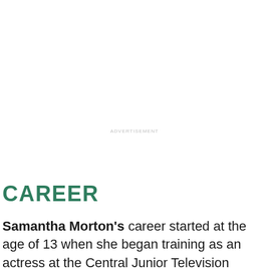ADVERTISEMENT
CAREER
Samantha Morton's career started at the age of 13 when she began training as an actress at the Central Junior Television Workshop. She started her